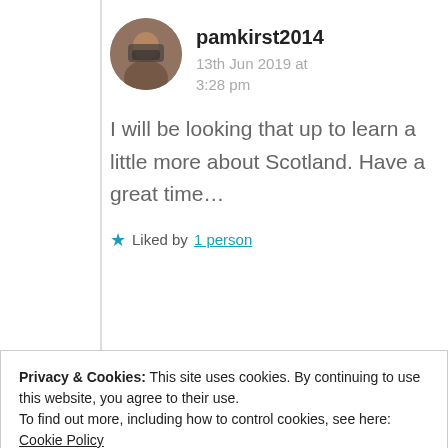pamkirst2014
13th Jun 2019 at 3:28 pm
I will be looking that up to learn a little more about Scotland. Have a great time…
★ Liked by 1 person
Privacy & Cookies: This site uses cookies. By continuing to use this website, you agree to their use.
To find out more, including how to control cookies, see here: Cookie Policy
Close and accept